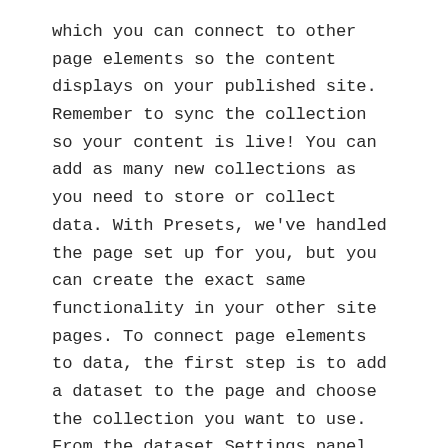which you can connect to other page elements so the content displays on your published site. Remember to sync the collection so your content is live! You can add as many new collections as you need to store or collect data. With Presets, we've handled the page set up for you, but you can create the exact same functionality in your other site pages. To connect page elements to data, the first step is to add a dataset to the page and choose the collection you want to use. From the dataset Settings panel, you can filter or sort the available items, decide how your users can interact with the page (read/write), and more. Next, select the element you want to connect to the data, and choose the field you want to connect it to. So simple! If you want to add even more capabilities, enable Developer Tools to use JavaScript and APIs to add custom interactions and functionality to your site. To